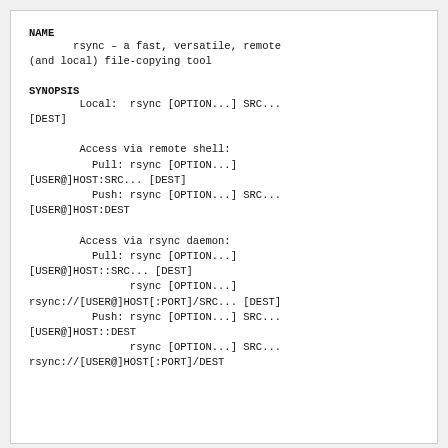NAME
rsync – a fast, versatile, remote
(and local) file-copying tool
SYNOPSIS
Local:  rsync [OPTION...] SRC...
[DEST]

        Access via remote shell:
          Pull: rsync [OPTION...]
[USER@]HOST:SRC... [DEST]
          Push: rsync [OPTION...] SRC...
[USER@]HOST:DEST

        Access via rsync daemon:
          Pull: rsync [OPTION...]
[USER@]HOST::SRC... [DEST]
                rsync [OPTION...]
rsync://[USER@]HOST[:PORT]/SRC... [DEST]
          Push: rsync [OPTION...] SRC...
[USER@]HOST::DEST
                rsync [OPTION...] SRC...
rsync://[USER@]HOST[:PORT]/DEST